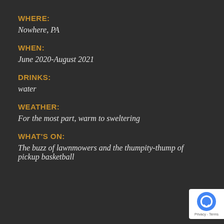WHERE:
Nowhere, PA
WHEN:
June 2020-August 2021
DRINKS:
water
WEATHER:
For the most part, warm to sweltering
WHAT'S ON:
The buzz of lawnmowers and the thumpity-thump of pickup basketball